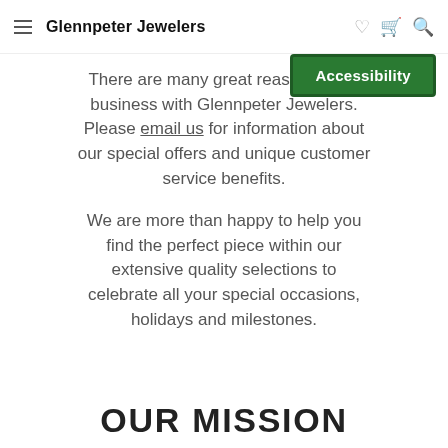Glennpeter Jewelers
[Figure (screenshot): Green Accessibility button overlay in top-right of navigation area]
There are many great reasons to do business with Glennpeter Jewelers. Please email us for information about our special offers and unique customer service benefits.
We are more than happy to help you find the perfect piece within our extensive quality selections to celebrate all your special occasions, holidays and milestones.
OUR MISSION